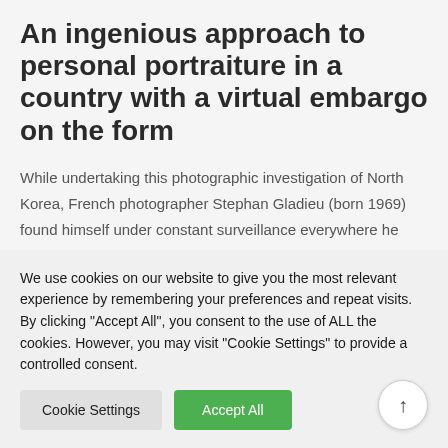An ingenious approach to personal portraiture in a country with a virtual embargo on the form
While undertaking this photographic investigation of North Korea, French photographer Stephan Gladieu (born 1969) found himself under constant surveillance everywhere he went. Because of these constraints, he managed to invent an ingenious space of freedom. Gladieu created mirror-portraits of people he
We use cookies on our website to give you the most relevant experience by remembering your preferences and repeat visits. By clicking "Accept All", you consent to the use of ALL the cookies. However, you may visit "Cookie Settings" to provide a controlled consent.